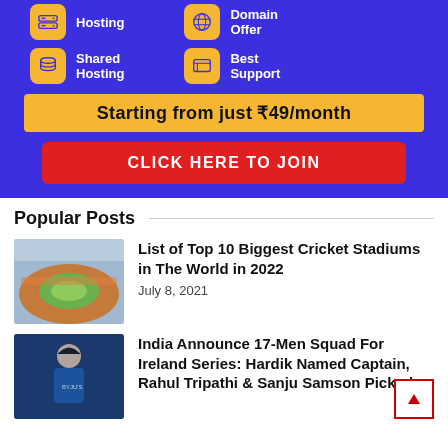[Figure (infographic): Blue banner advertisement for web hosting. Shows icons for Hosting, Domain Offer, Shared Hosting, Best Support. Yellow price bar: 'Starting from just ₹49/month'. Red CTA button: 'CLICK HERE TO JOIN'.]
Popular Posts
[Figure (photo): Aerial photo of a large cricket stadium with green pitch and orange-red stands.]
List of Top 10 Biggest Cricket Stadiums in The World in 2022
July 8, 2021
[Figure (photo): Photo of a cricket player in India blue jersey with BYJU'S sponsor logo.]
India Announce 17-Men Squad For Ireland Series: Hardik Named Captain, Rahul Tripathi & Sanju Samson Picked